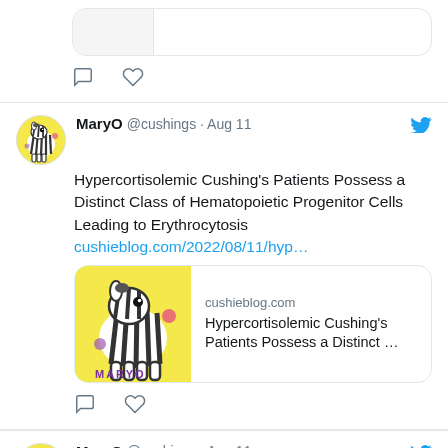[Figure (screenshot): Partial tweet with link preview card and action icons (comment and heart) at bottom]
MaryO @cushings · Aug 11 — Hypercortisolemic Cushing's Patients Possess a Distinct Class of Hematopoietic Progenitor Cells Leading to Erythrocytosis — cushieblog.com/2022/08/11/hyp...
[Figure (screenshot): Link preview card for cushieblog.com showing MaryO zebra logo and title: Hypercortisolemic Cushing's Patients Possess a Distinct ...]
MaryO @cushings · Aug 11 — Low Blood Pressure? bit.ly/3QfKn5j #cushings
[Figure (screenshot): Partial link preview card for cushings.invisionzone.com with document icon]